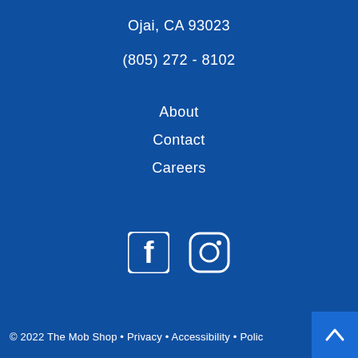Ojai, CA 93023
(805) 272 - 8102
About
Contact
Careers
[Figure (other): Facebook and Instagram social media icons]
© 2022 The Mob Shop • Privacy • Accessibility • Polic